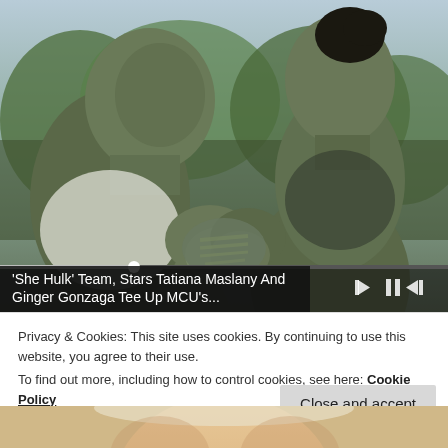[Figure (screenshot): Video player screenshot showing two green-skinned Marvel characters (Hulk and She-Hulk) facing each other with hands pressed together, with video playback controls visible at the bottom, and an overlaid caption banner reading 'She Hulk' Team, Stars Tatiana Maslany And Ginger Gonzaga Tee Up MCU's...']
Privacy & Cookies: This site uses cookies. By continuing to use this website, you agree to their use.
To find out more, including how to control cookies, see here: Cookie Policy
Close and accept
[Figure (photo): Partial bottom of page showing top of a person's head/face]